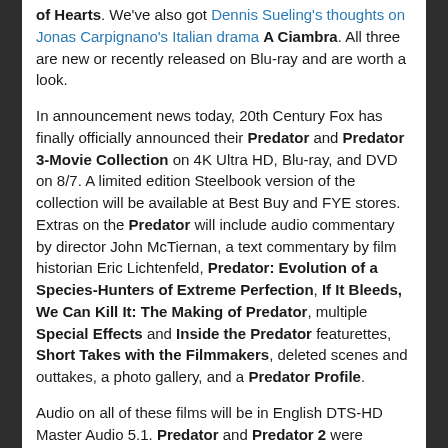of Hearts. We've also got Dennis Sueling's thoughts on Jonas Carpignano's Italian drama A Ciambra. All three are new or recently released on Blu-ray and are worth a look.
In announcement news today, 20th Century Fox has finally officially announced their Predator and Predator 3-Movie Collection on 4K Ultra HD, Blu-ray, and DVD on 8/7. A limited edition Steelbook version of the collection will be available at Best Buy and FYE stores. Extras on the Predator will include audio commentary by director John McTiernan, a text commentary by film historian Eric Lichtenfeld, Predator: Evolution of a Species-Hunters of Extreme Perfection, If It Bleeds, We Can Kill It: The Making of Predator, multiple Special Effects and Inside the Predator featurettes, Short Takes with the Filmmakers, deleted scenes and outtakes, a photo gallery, and a Predator Profile.
Audio on all of these films will be in English DTS-HD Master Audio 5.1. Predator and Predator 2 were finished on film and should be new 4K film scans, while Predators is a 2K DI upsample. We suspect the HDR